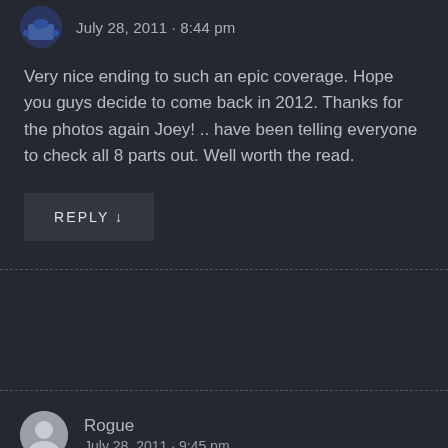July 28, 2011 · 8:44 pm
Very nice ending to such an epic coverage. Hope you guys decide to come back in 2012. Thanks for the photos again Joey! .. have been telling everyone to check all 8 parts out. Well worth the read.
REPLY ↓
Rogue
July 28, 2011 · 9:45 pm